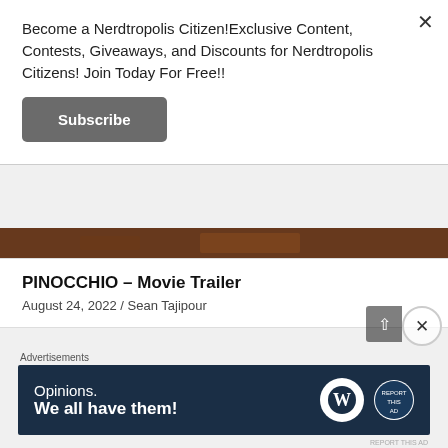Become a Nerdtropolis Citizen!Exclusive Content, Contests, Giveaways, and Discounts for Nerdtropolis Citizens! Join Today For Free!!
Subscribe
[Figure (photo): Dark reddish-brown strip image, partial view of an entertainment or movie scene, visible at top of article card area.]
PINOCCHIO – Movie Trailer
August 24, 2022 / Sean Tajipour
[Figure (photo): Photo of a great white shark emerging from water with a person in the foreground, from the movie Jaws.]
Advertisements
[Figure (screenshot): Advertisement banner with dark navy background showing text 'Opinions. We all have them!' with WordPress logo and another circular logo on the right.]